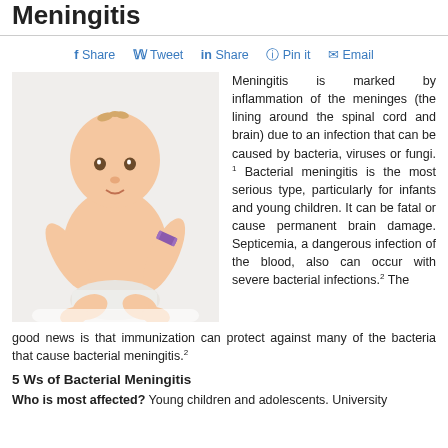Meningitis
Share | Tweet | in Share | Pin it | Email
[Figure (photo): Photograph of a baby sitting, wearing a diaper, with a purple bandage on the upper arm, on a white background]
Meningitis is marked by inflammation of the meninges (the lining around the spinal cord and brain) due to an infection that can be caused by bacteria, viruses or fungi.1 Bacterial meningitis is the most serious type, particularly for infants and young children. It can be fatal or cause permanent brain damage. Septicemia, a dangerous infection of the blood, also can occur with severe bacterial infections.2 The good news is that immunization can protect against many of the bacteria that cause bacterial meningitis.2
5 Ws of Bacterial Meningitis
Who is most affected? Young children and adolescents. University